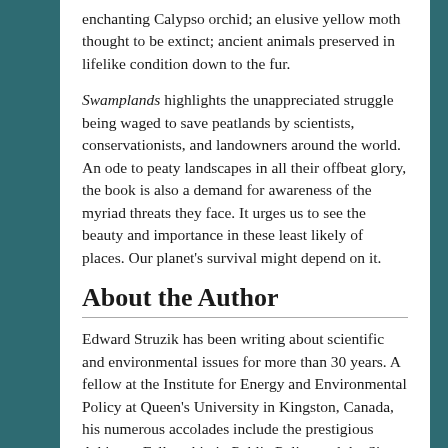enchanting Calypso orchid; an elusive yellow moth thought to be extinct; ancient animals preserved in lifelike condition down to the fur.
Swamplands highlights the unappreciated struggle being waged to save peatlands by scientists, conservationists, and landowners around the world. An ode to peaty landscapes in all their offbeat glory, the book is also a demand for awareness of the myriad threats they face. It urges us to see the beauty and importance in these least likely of places. Our planet's survival might depend on it.
About the Author
Edward Struzik has been writing about scientific and environmental issues for more than 30 years. A fellow at the Institute for Energy and Environmental Policy at Queen's University in Kingston, Canada, his numerous accolades include the prestigious Atkinson Fellowship in Public Policy and the Sir Sandford Fleming Medal,